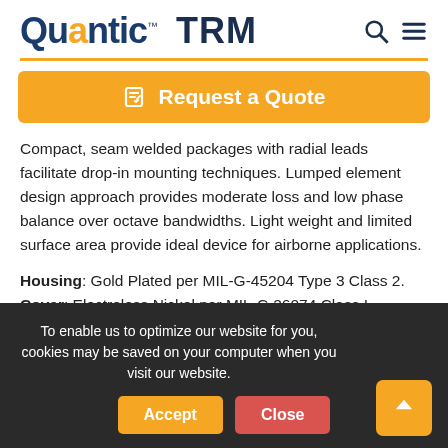Quantic TRM
[Figure (logo): Quantic TRM logo with orange dot on i]
✎ Request a Quote
Compact, seam welded packages with radial leads facilitate drop-in mounting techniques. Lumped element design approach provides moderate loss and low phase balance over octave bandwidths. Light weight and limited surface area provide ideal device for airborne applications.
Housing: Gold Plated per MIL-G-45204 Type 3 Class 2.
Cover: Electroless Nickel per MIL-C-26074 Class I.
To enable us to optimize our website for you, cookies may be saved on your computer when you visit our website.